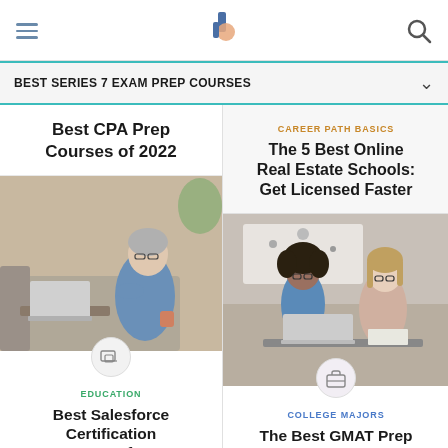Navigation bar with hamburger menu, logo, and search icon
BEST SERIES 7 EXAM PREP COURSES
Best CPA Prep Courses of 2022
[Figure (photo): Middle-aged woman with grey hair and glasses, sitting on couch, working on a laptop, indoor home setting]
EDUCATION
Best Salesforce Certification Courses of 2022
CAREER PATH BASICS
The 5 Best Online Real Estate Schools: Get Licensed Faster
[Figure (photo): Two people, one with curly hair and glasses and one with straight hair and glasses, looking at a laptop together in an office or meeting room]
COLLEGE MAJORS
The Best GMAT Prep Courses in 2022